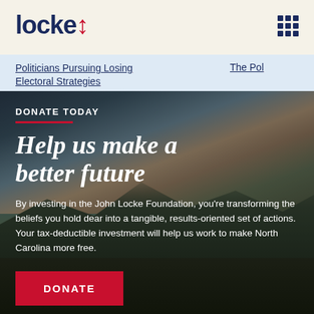locke
Politicians Pursuing Losing Electoral Strategies
The Pol
DONATE TODAY
Help us make a better future
By investing in the John Locke Foundation, you're transforming the beliefs you hold dear into a tangible, results-oriented set of actions. Your tax-deductible investment will help us work to make North Carolina more free.
DONATE